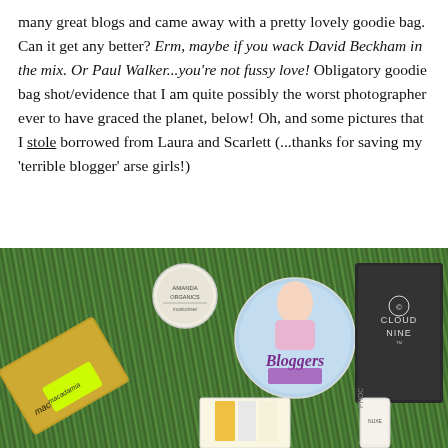many great blogs and came away with a pretty lovely goodie bag. Can it get any better? Erm, maybe if you wack David Beckham in the mix. Or Paul Walker...you're not fussy love! Obligatory goodie bag shot/evidence that I am quite possibly the worst photographer ever to have graced the planet, below! Oh, and some pictures that I stole borrowed from Laura and Scarlett (...thanks for saving my 'terrible blogger' arse girls!)
[Figure (photo): Photo of goodie bag contents laid out on grass, including a Macadamia hair product, a Bloggers badge/mirror, a small circular product tin, Cloud Nine branded black box, and various small beauty products/cards.]